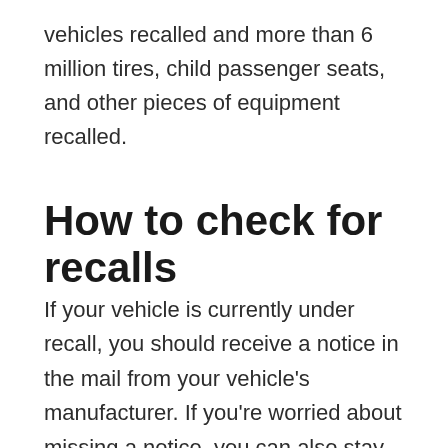vehicles recalled and more than 6 million tires, child passenger seats, and other pieces of equipment recalled.
How to check for recalls
If your vehicle is currently under recall, you should receive a notice in the mail from your vehicle's manufacturer. If you're worried about missing a notice, you can also stay up to date on recalls by signing up for notification emails from NHTSA.
You don't need to wait for a notification to